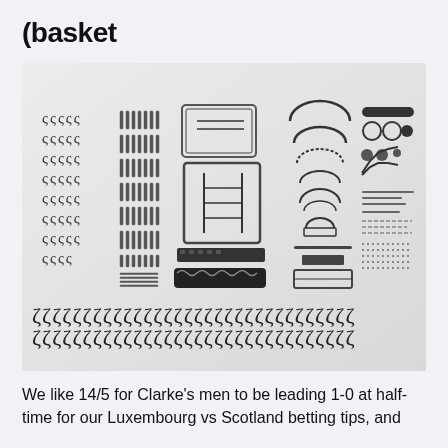(basket
[Figure (photo): Flat lay photography of disassembled mechanical parts organized in a grid pattern on a light gray background. Parts include spring-like coils arranged in rows, screws and bolts, a typewriter-like mechanical assembly, curved bracket components of various sizes, cylindrical parts, a long black bar component, and a row of wavy spring elements along the bottom.]
We like 14/5 for Clarke's men to be leading 1-0 at half-time for our Luxembourg vs Scotland betting tips, and